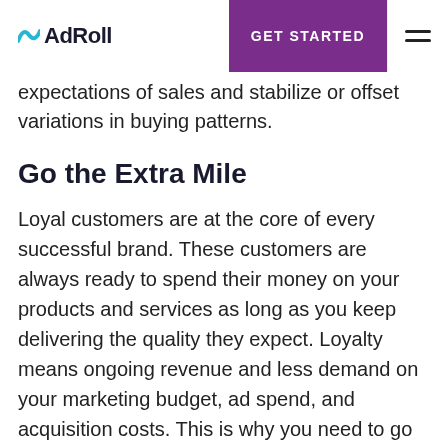AdRoll | GET STARTED
expectations of sales and stabilize or offset variations in buying patterns.
Go the Extra Mile
Loyal customers are at the core of every successful brand. These customers are always ready to spend their money on your products and services as long as you keep delivering the quality they expect. Loyalty means ongoing revenue and less demand on your marketing budget, ad spend, and acquisition costs. This is why you need to go the extra mile to retain existing customers and encourage commitment to your brand. By following the tips provided above, you can reap